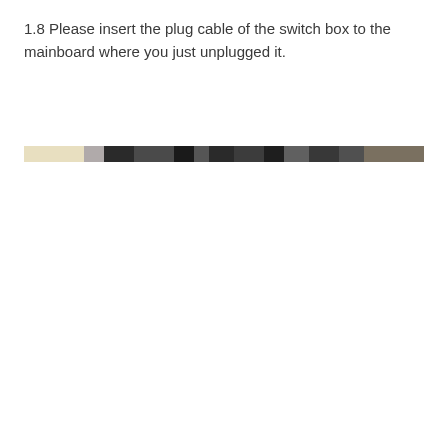1.8 Please insert the plug cable of the switch box to the mainboard where you just unplugged it.
[Figure (photo): A narrow horizontal strip showing a close-up photograph of cables on a mainboard, displaying various cable colors and textures including beige, dark gray, black, and metallic tones.]